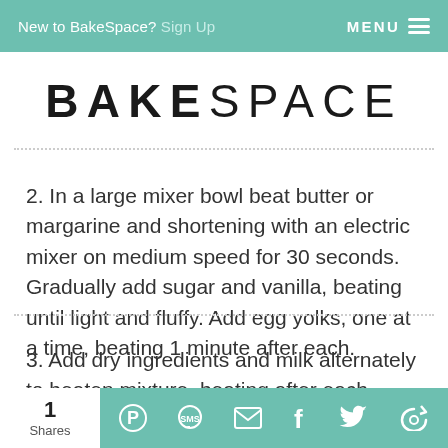New to BakeSpace? Sign Up   MENU
BAKESPACE
2. In a large mixer bowl beat butter or margarine and shortening with an electric mixer on medium speed for 30 seconds. Gradually add sugar and vanilla, beating until light and fluffy. Add egg yolks, one at a time, beating 1 minute after each.
3. Add dry ingredients and milk alternately to beaten mixture, beating after each addition until blended. Gently fold in egg whites by hand.
1 Shares